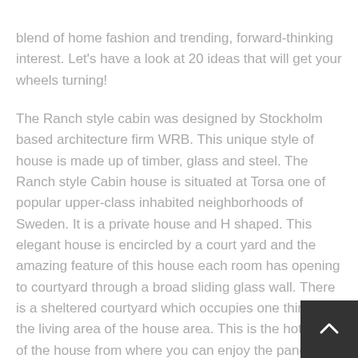blend of home fashion and trending, forward-thinking interest. Let's have a look at 20 ideas that will get your wheels turning!
The Ranch style cabin was designed by Stockholm based architecture firm WRB. This unique style of house is made up of timber, glass and steel. The Ranch style Cabin house is situated at Torsa one of popular upper-class inhabited neighborhoods of Sweden. It is a private house and H shaped. This elegant house is encircled by a court yard and the amazing feature of this house each room has opening to courtyard through a broad sliding glass wall. There is a sheltered courtyard which occupies one third of the living area of the house area. This is the hotspot of the house from where you can enjoy the panoramic view of ocean. The design of the house is inspired farm house. Concrete, rusted steel, untreated pine